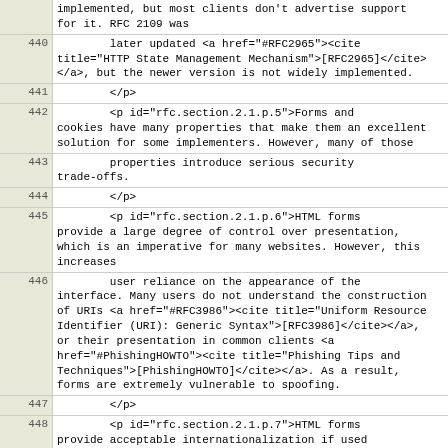| line | code |
| --- | --- |
|  | implemented, but most clients don't advertise support for it. RFC 2109 was |
| 440 |         later updated <a href="#RFC2965"><cite title="HTTP State Management Mechanism">[RFC2965]</cite></a>, but the newer version is not widely implemented. |
| 441 |         </p> |
| 442 | <p id="rfc.section.2.1.p.5">Forms and cookies have many properties that make them an excellent solution for some implementers. However, many of those |
| 443 |         properties introduce serious security trade-offs. |
| 444 |         </p> |
| 445 |         <p id="rfc.section.2.1.p.6">HTML forms provide a large degree of control over presentation, which is an imperative for many websites. However, this increases |
| 446 |         user reliance on the appearance of the interface. Many users do not understand the construction of URIs <a href="#RFC3986"><cite title="Uniform Resource Identifier (URI): Generic Syntax">[RFC3986]</cite></a>, or their presentation in common clients <a href="#PhishingHOWTO"><cite title="Phishing Tips and Techniques">[PhishingHOWTO]</cite></a>. As a result, forms are extremely vulnerable to spoofing. |
| 447 |         </p> |
| 448 |         <p id="rfc.section.2.1.p.7">HTML forms provide acceptable internationalization if used carefully, at the cost of being transmitted as normal HTTP content |
| 449 |         in all cases (credentials are not differentiated in the protocol). |
| 450 |         </p> |
| 451 |         <p id="rfc.section.2.1.p.8">Many Web browsers have an auto-complete feature that stores a user's information and pre-populates fields in forms. |